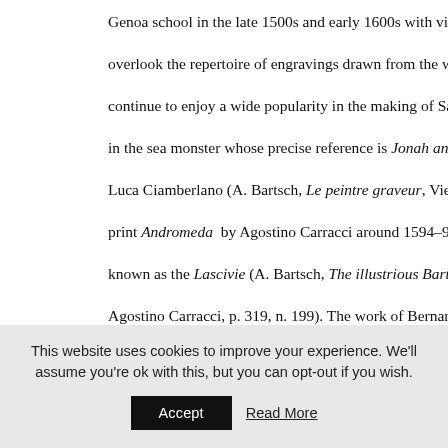Genoa school in the late 1500s and early 1600s with vivid immediac overlook the repertoire of engravings drawn from the work of impo continue to enjoy a wide popularity in the making of Savona and Al in the sea monster whose precise reference is Jonah and the Whal Luca Ciamberlano (A. Bartsch, Le peintre graveur, Vienna 1818, vol. print Andromeda by Agostino Carracci around 1594–95 and belong known as the Lascivie (A. Bartsch, The illustrious Bartsch, Italian M Agostino Carracci, p. 319, n. 199). The work of Bernardo Castello wa shaping the work of the ceramic decorators; he authored the illust edition of Liberated Jerusalem.
In this unusual marine scene, the viewer is struck by the dynamism elements unleashed by the monster evoked from the abyss; this fa become deeply rooted in popular medieval imagery. The wind fills t
This website uses cookies to improve your experience. We'll assume you're ok with this, but you can opt-out if you wish.